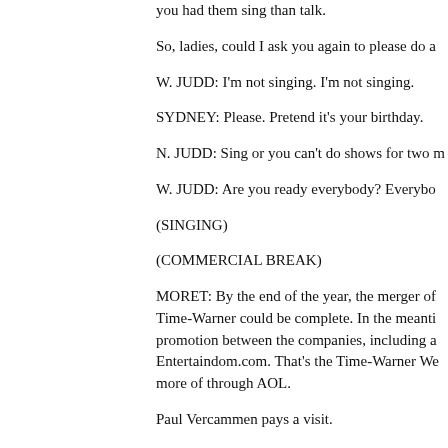you had them sing than talk.
So, ladies, could I ask you again to please do a
W. JUDD: I'm not singing. I'm not singing.
SYDNEY: Please. Pretend it's your birthday.
N. JUDD: Sing or you can't do shows for two m
W. JUDD: Are you ready everybody? Everybo
(SINGING)
(COMMERCIAL BREAK)
MORET: By the end of the year, the merger of Time-Warner could be complete. In the meanti promotion between the companies, including a Entertaindom.com. That's the Time-Warner We more of through AOL.
Paul Vercammen pays a visit.
(BEGIN VIDEOTAPE)